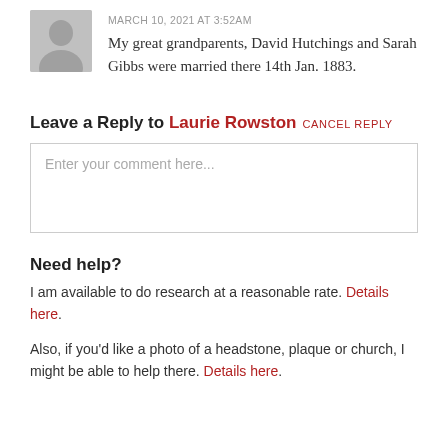MARCH 10, 2021 AT 3:52AM
My great grandparents, David Hutchings and Sarah Gibbs were married there 14th Jan. 1883.
Leave a Reply to Laurie Rowston CANCEL REPLY
Enter your comment here...
Need help?
I am available to do research at a reasonable rate. Details here.
Also, if you'd like a photo of a headstone, plaque or church, I might be able to help there. Details here.